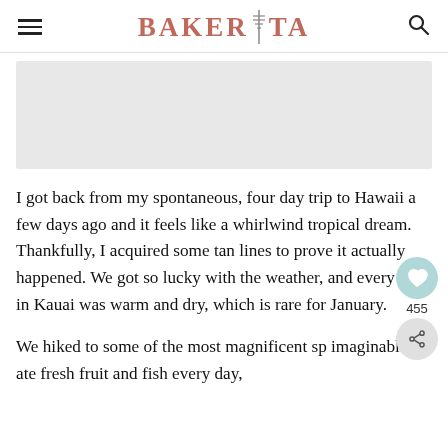BAKERITA
[Figure (photo): Placeholder image area, light gray rectangle representing a photo]
I got back from my spontaneous, four day trip to Hawaii a few days ago and it feels like a whirlwind tropical dream. Thankfully, I acquired some tan lines to prove it actually happened. We got so lucky with the weather, and every day in Kauai was warm and dry, which is rare for January.
We hiked to some of the most magnificent sp imaginable, ate fresh fruit and fish every day,